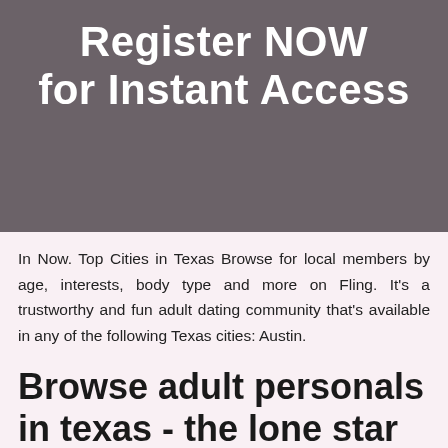[Figure (other): Dark grey banner with white bold text reading 'Register NOW for Instant Access']
In Now. Top Cities in Texas Browse for local members by age, interests, body type and more on Fling. It's a trustworthy and fun adult dating community that's available in any of the following Texas cities: Austin.
Browse adult personals in texas - the lone star state